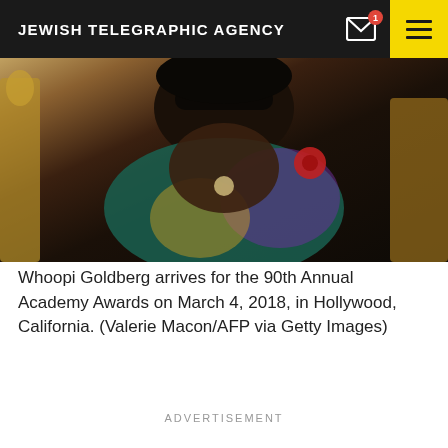JEWISH TELEGRAPHIC AGENCY
[Figure (photo): Whoopi Goldberg arriving at the 90th Annual Academy Awards, wearing sunglasses and a colorful floral wrap, with gold Oscar statues in the background.]
Whoopi Goldberg arrives for the 90th Annual Academy Awards on March 4, 2018, in Hollywood, California. (Valerie Macon/AFP via Getty Images)
ADVERTISEMENT